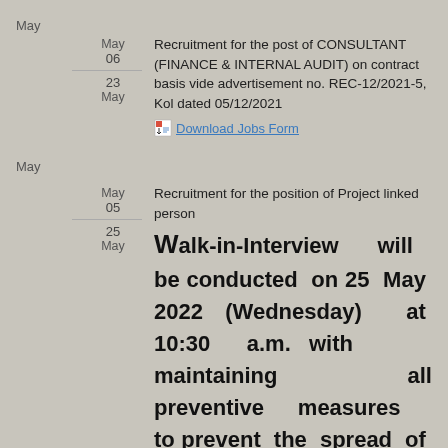May
May
06
Recruitment for the post of CONSULTANT (FINANCE & INTERNAL AUDIT) on contract basis vide advertisement no. REC-12/2021-5, Kol dated 05/12/2021
Download Jobs Form
23
May
May
May
05
Recruitment for the position of Project linked person
25
May
Walk-in-Interview will be conducted on 25 May 2022 (Wednesday) at 10:30 a.m. with maintaining all preventive measures to prevent the spread of Covid-19 Global Pandemic as directed by the Government